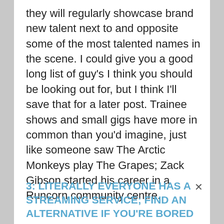they will regularly showcase brand new talent next to and opposite some of the most talented names in the scene. I could give you a good long list of guy's I think you should be looking out for, but I think I'll save that for a later post. Trainee shows and small gigs have more in common than you'd imagine, just like someone saw The Arctic Monkeys play The Grapes; Zack Gibson started his career in a Runcorn community centre.
3: LITERALLY EVERYONE HAS A STREAMING SERVICE; FIND AN ALTERNATIVE IF YOU'RE BORED